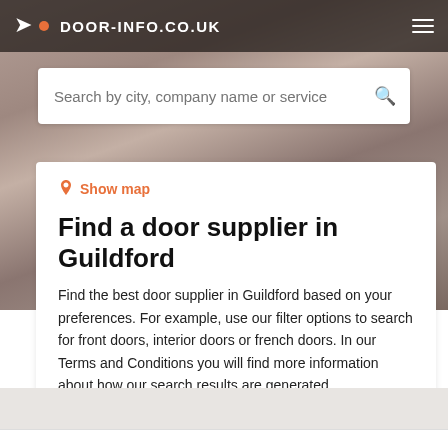DOOR-INFO.CO.UK
Search by city, company name or service
Show map
Find a door supplier in Guildford
Find the best door supplier in Guildford based on your preferences. For example, use our filter options to search for front doors, interior doors or french doors. In our Terms and Conditions you will find more information about how our search results are generated.
Filters